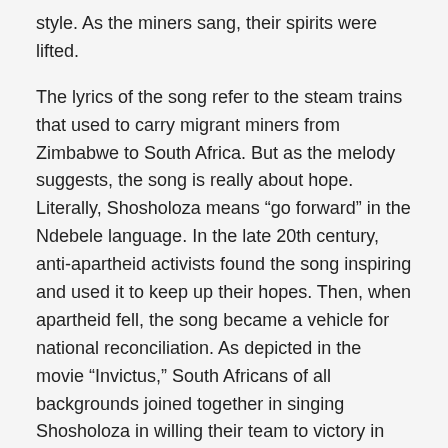style. As the miners sang, their spirits were lifted.
The lyrics of the song refer to the steam trains that used to carry migrant miners from Zimbabwe to South Africa. But as the melody suggests, the song is really about hope. Literally, Shosholoza means “go forward” in the Ndebele language. In the late 20th century, anti-apartheid activists found the song inspiring and used it to keep up their hopes. Then, when apartheid fell, the song became a vehicle for national reconciliation. As depicted in the movie “Invictus,” South Africans of all backgrounds joined together in singing Shosholoza in willing their team to victory in the 1995 rugby World Cup. Today, Shosholoza is an unofficial South African national anthem and reminds us that change is possible.
So fun to sing!!!
This song is in the public domain.